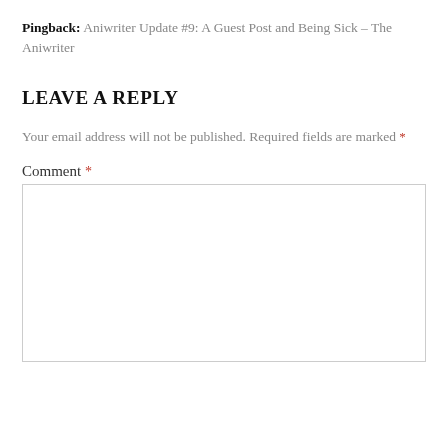Pingback: Aniwriter Update #9: A Guest Post and Being Sick – The Aniwriter
LEAVE A REPLY
Your email address will not be published. Required fields are marked *
Comment *
[Figure (other): Empty comment text area input box]